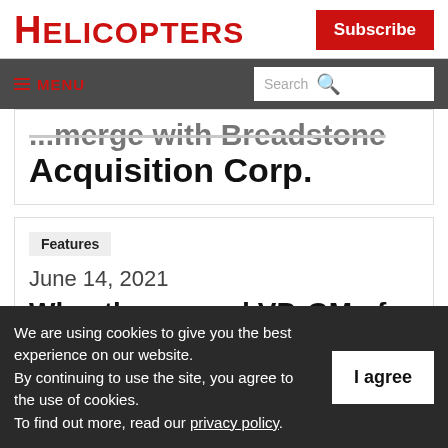HELICOPTERS
... merge with Breadstone Acquisition Corp.
Features
June 14, 2021
Wheatley named VP, GM of ...
We are using cookies to give you the best experience on our website. By continuing to use the site, you agree to the use of cookies. To find out more, read our privacy policy.